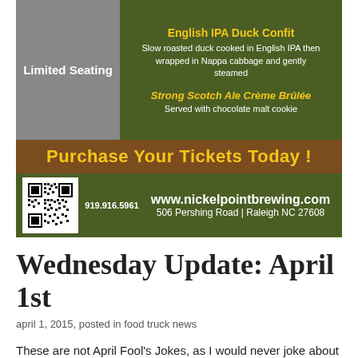[Figure (infographic): Nickel Point Brewing event advertisement with dark green background, gray 'Limited Seating' panel, food items listed (English IPA Duck Confit, Strong Scotch Ale Crème Brûlée), brown banner 'Purchase Your Tickets Today!', QR code, phone number 919.916.5961, website www.nickelpointbrewing.com, address 506 Pershing Road | Raleigh NC 27608]
Wednesday Update: April 1st
april 1, 2015, posted in food truck news
These are not April Fool's Jokes, as I would never joke about food.
Continue reading →